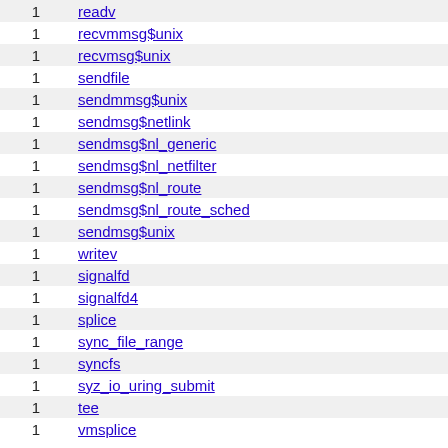|  |  |
| --- | --- |
| 1 | readv |
| 1 | recvmmsg$unix |
| 1 | recvmsg$unix |
| 1 | sendfile |
| 1 | sendmmsg$unix |
| 1 | sendmsg$netlink |
| 1 | sendmsg$nl_generic |
| 1 | sendmsg$nl_netfilter |
| 1 | sendmsg$nl_route |
| 1 | sendmsg$nl_route_sched |
| 1 | sendmsg$unix |
| 1 | writev |
| 1 | signalfd |
| 1 | signalfd4 |
| 1 | splice |
| 1 | sync_file_range |
| 1 | syncfs |
| 1 | syz_io_uring_submit |
| 1 | tee |
| 1 | vmsplice |